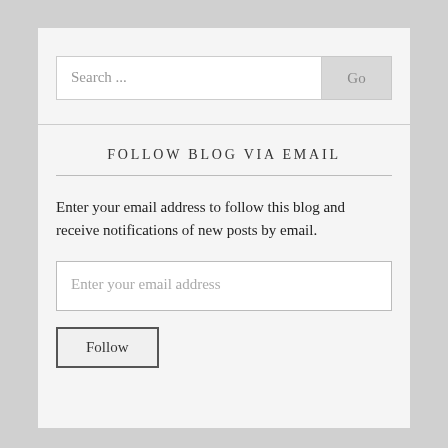[Figure (screenshot): Search bar with text field showing 'Search ...' placeholder and a 'Go' button on the right]
FOLLOW BLOG VIA EMAIL
Enter your email address to follow this blog and receive notifications of new posts by email.
[Figure (screenshot): Email input field with placeholder 'Enter your email address' and a Follow button below it]